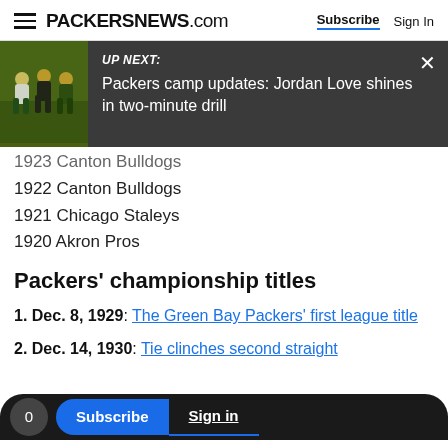PACKERSNEWS.com  Subscribe  Sign In
[Figure (screenshot): UP NEXT overlay with photo of Green Bay Packers players and text: 'UP NEXT: Packers camp updates: Jordan Love shines in two-minute drill']
1923 Canton Bulldogs
1922 Canton Bulldogs
1921 Chicago Staleys
1920 Akron Pros
Packers' championship titles
1. Dec. 8, 1929: The Green Bay Packers' first league title
2. Dec. 14, 1930: Tie clinches second straight
3. Nov. 29, 1931: Punter/halfback Verne Lewellen